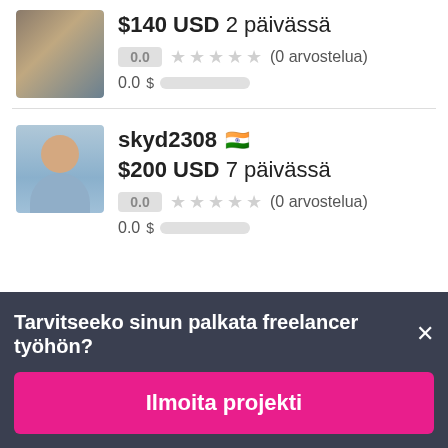$140 USD 2 päivässä
0.0 ★★★★★ (0 arvostelua)
0.0 $
skyd2308 🇮🇳
$200 USD 7 päivässä
0.0 ★★★★★ (0 arvostelua)
0.0 $
Tarvitseeko sinun palkata freelancer työhön? ✕
Ilmoita projekti